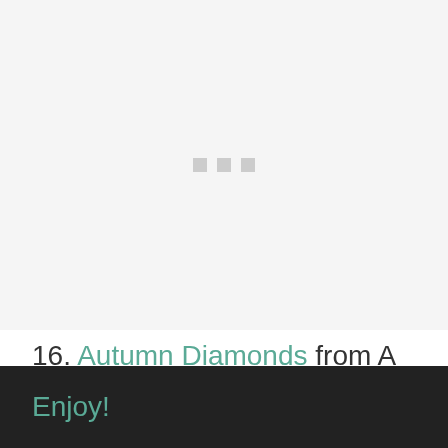[Figure (photo): Image placeholder with three grey squares/dots centered on a light grey background, indicating a loading or missing image.]
16. Autumn Diamonds from A Crochet Journey
Enjoy!